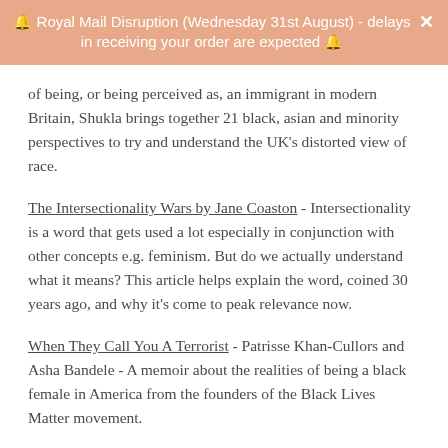🔔 Royal Mail Disruption (Wednesday 31st August) - delays in receiving your order are expected 🔔
of being, or being perceived as, an immigrant in modern Britain, Shukla brings together 21 black, asian and minority perspectives to try and understand the UK's distorted view of race.
The Intersectionality Wars by Jane Coaston - Intersectionality is a word that gets used a lot especially in conjunction with other concepts e.g. feminism. But do we actually understand what it means? This article helps explain the word, coined 30 years ago, and why it's come to peak relevance now.
When They Call You A Terrorist - Patrisse Khan-Cullors and Asha Bandele - A memoir about the realities of being a black female in America from the founders of the Black Lives Matter movement.
Fighting the racism that killed George Floyd requires more than hashtags by Nesrine Malik - An insightful article from the Guardian explaining the importance of maintaining the conversation around not only the murder of George Floyd, but